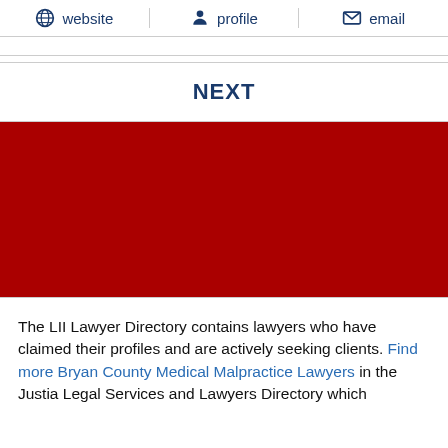website  profile  email
NEXT
[Figure (other): Large solid dark red rectangular banner block]
The LII Lawyer Directory contains lawyers who have claimed their profiles and are actively seeking clients. Find more Bryan County Medical Malpractice Lawyers in the Justia Legal Services and Lawyers Directory which